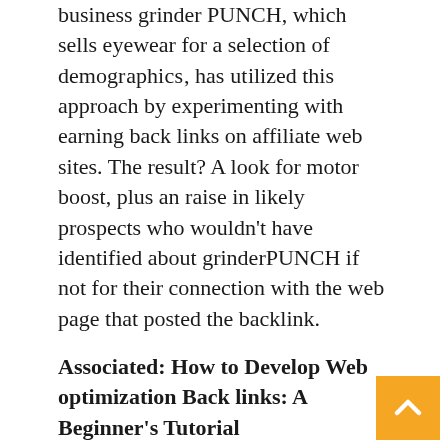business grinder PUNCH, which sells eyewear for a selection of demographics, has utilized this approach by experimenting with earning back links on affiliate web sites. The result? A look for motor boost, plus an raise in likely prospects who wouldn't have identified about grinderPUNCH if not for their connection with the web page that posted the backlink.
Associated: How to Develop Web optimization Back links: A Beginner's Tutorial
Video clip internet marketing
If you have discovered that most of these trends are remarkably visible, you would not be incorrect. The Net is a visual room, exactly where customers appreciate to be entertained just look at TikTok Instagram Reels' increase in acceptance over the